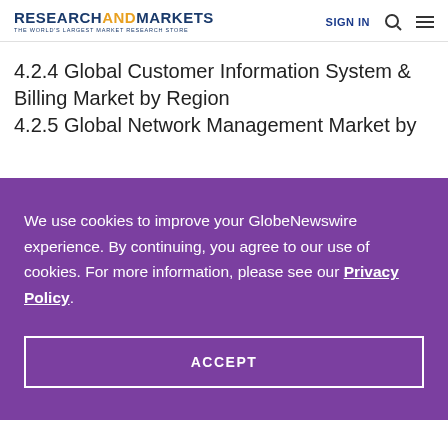RESEARCHANDMARKETS THE WORLD'S LARGEST MARKET RESEARCH STORE | SIGN IN
4.2.4 Global Customer Information System & Billing Market by Region
4.2.5 Global Network Management Market by
We use cookies to improve your GlobeNewswire experience. By continuing, you agree to our use of cookies. For more information, please see our Privacy Policy.
ACCEPT